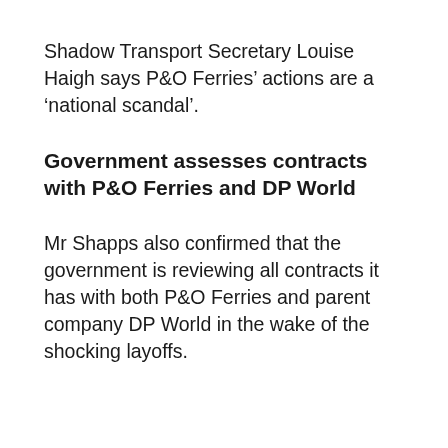Shadow Transport Secretary Louise Haigh says P&O Ferries' actions are a 'national scandal'.
Government assesses contracts with P&O Ferries and DP World
Mr Shapps also confirmed that the government is reviewing all contracts it has with both P&O Ferries and parent company DP World in the wake of the shocking layoffs.